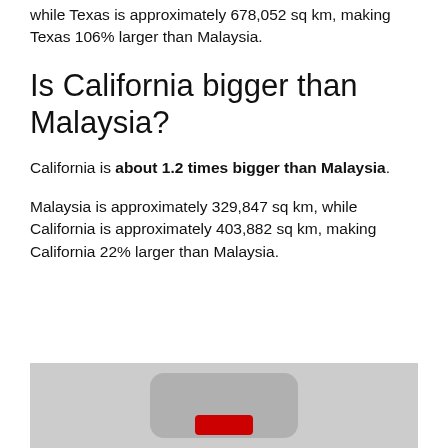while Texas is approximately 678,052 sq km, making Texas 106% larger than Malaysia.
Is California bigger than Malaysia?
California is about 1.2 times bigger than Malaysia.
Malaysia is approximately 329,847 sq km, while California is approximately 403,882 sq km, making California 22% larger than Malaysia.
[Figure (photo): A photo partially visible at the bottom of the page, showing a grey/silver object with a red element, likely a map comparison image.]